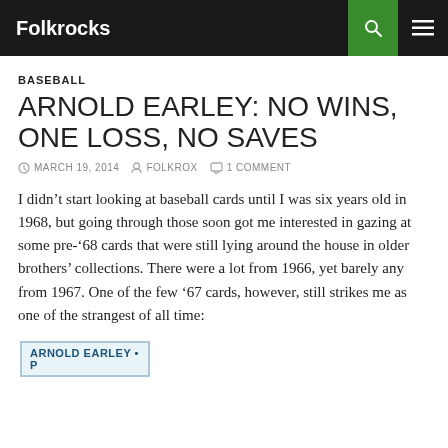Folkrocks
BASEBALL
ARNOLD EARLEY: NO WINS, ONE LOSS, NO SAVES
MARCH 19, 2014  FOLKROX  1 COMMENT
I didn't start looking at baseball cards until I was six years old in 1968, but going through those soon got me interested in gazing at some pre-'68 cards that were still lying around the house in older brothers' collections. There were a lot from 1966, yet barely any from 1967. One of the few '67 cards, however, still strikes me as one of the strangest of all time:
[Figure (photo): Partial baseball card for Arnold Earley, pitcher, shown at bottom of page]